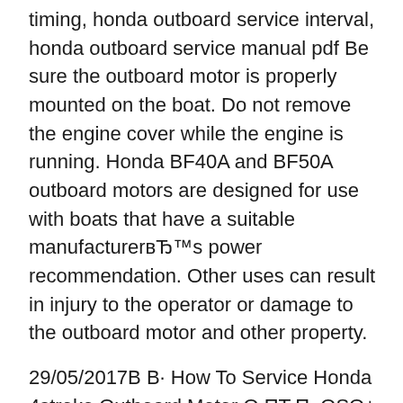timing, honda outboard service interval, honda outboard service manual pdf Be sure the outboard motor is properly mounted on the boat. Do not remove the engine cover while the engine is running. Honda BF40A and BF50A outboard motors are designed for use with boats that have a suitable manufacturerвЂ™s power recommendation. Other uses can result in injury to the operator or damage to the outboard motor and other property.
29/05/2017В В· How To Service Honda 4stroke Outboard Motor О ПЋП, ОЅО± ОєО¬ОЅОµОЅП, Service ПѓОµ ОµОsП‰О»ОOjОІОЅО± ОjО·П‡О±ОЅО® ПѓОєО¬П†ОїП…П, вЂū 00:00 Two -way Boat Motor Maintenance -Using a Flush Muffs & If you are looking for a complete